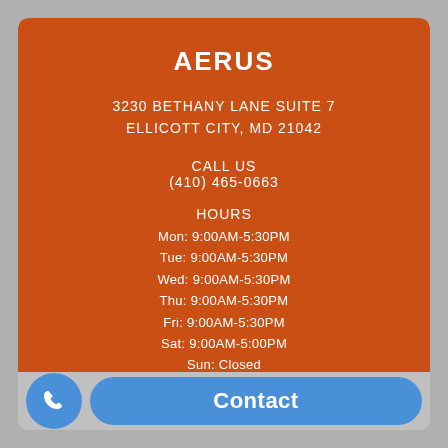AERUS
3230 BETHANY LANE SUITE 7
ELLICOTT CITY, MD 21042
CALL US
(410) 465-0663
HOURS
Mon: 9:00AM-5:30PM
Tue: 9:00AM-5:30PM
Wed: 9:00AM-5:30PM
Thu: 9:00AM-5:30PM
Fri: 9:00AM-5:30PM
Sat: 9:00AM-5:00PM
Sun: Closed
FIND US ›
Contact